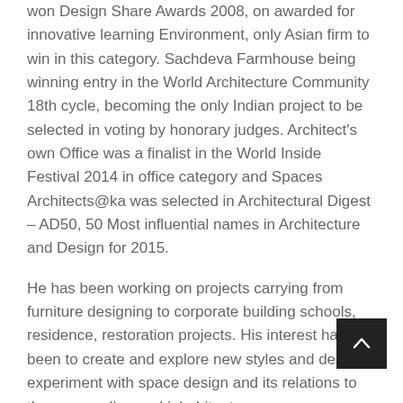won Design Share Awards 2008, on awarded for innovative learning Environment, only Asian firm to win in this category. Sachdeva Farmhouse being winning entry in the World Architecture Community 18th cycle, becoming the only Indian project to be selected in voting by honorary judges. Architect's own Office was a finalist in the World Inside Festival 2014 in office category and Spaces Architects@ka was selected in Architectural Digest – AD50, 50 Most influential names in Architecture and Design for 2015.
He has been working on projects carrying from furniture designing to corporate building schools, residence, restoration projects. His interest has been to create and explore new styles and design, experiment with space design and its relations to the surrounding and inhabitants.
Kapil shares some interesting insights from his journey